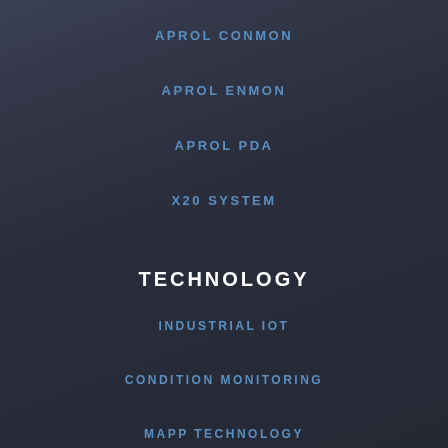APROL CONMON
APROL ENMON
APROL PDA
X20 SYSTEM
TECHNOLOGY
INDUSTRIAL IOT
CONDITION MONITORING
MAPP TECHNOLOGY